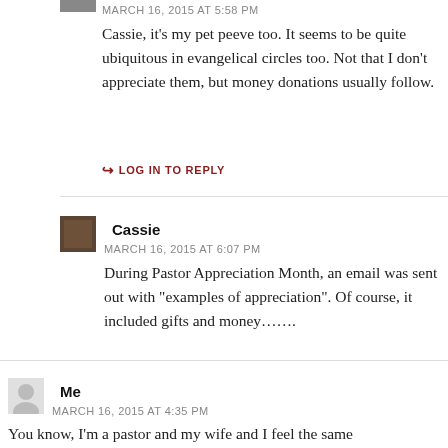MARCH 16, 2015 AT 5:58 PM
Cassie, it’s my pet peeve too. It seems to be quite ubiquitous in evangelical circles too. Not that I don’t appreciate them, but money donations usually follow.
↪ LOG IN TO REPLY
Cassie
MARCH 16, 2015 AT 6:07 PM
During Pastor Appreciation Month, an email was sent out with “examples of appreciation”. Of course, it included gifts and money…….
Me
MARCH 16, 2015 AT 4:35 PM
You know, I’m a pastor and my wife and I feel the same